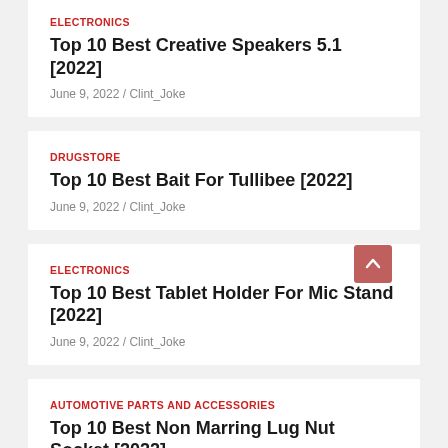ELECTRONICS
Top 10 Best Creative Speakers 5.1 [2022]
June 9, 2022 / Clint_Joke
DRUGSTORE
Top 10 Best Bait For Tullibee [2022]
June 9, 2022 / Clint_Joke
ELECTRONICS
Top 10 Best Tablet Holder For Mic Stand [2022]
June 9, 2022 / Clint_Joke
AUTOMOTIVE PARTS AND ACCESSORIES
Top 10 Best Non Marring Lug Nut Socket [2022]
June 9, 2022 / Clint_Joke